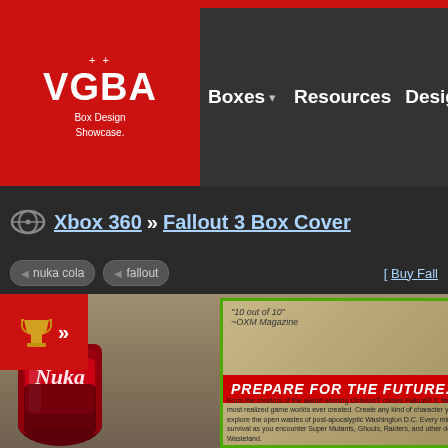[Figure (logo): VGBA Box Design Showcase logo in red square with white text and crosshair symbols]
Boxes | Resources | Designers | Fo
Xbox 360 » Fallout 3 Box Cover
nuka cola
fallout
[ Buy Fall
[Figure (photo): Fallout 3 Xbox 360 box cover showing post-apocalyptic wasteland scene with 'PREPARE FOR THE FUTURE.' tagline, E3 Game of Show badge, ISBN barcode, and '10 out of 10 -OXM Magazine' quote. Includes Nuka Cola bottle on the left and partial Xbox 360 box art on the right showing VAULT-TEC APPROVED badge.]